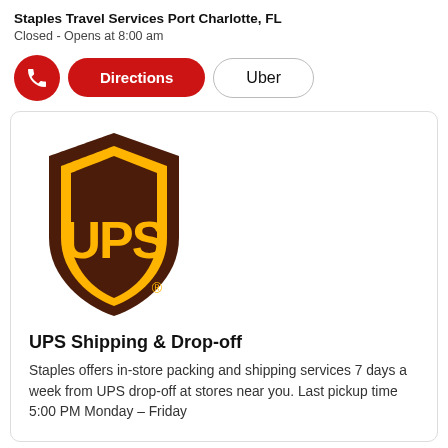Staples Travel Services Port Charlotte, FL
Closed - Opens at 8:00 am
[Figure (logo): UPS shield logo in brown and yellow]
UPS Shipping & Drop-off
Staples offers in-store packing and shipping services 7 days a week from UPS drop-off at stores near you. Last pickup time 5:00 PM Monday – Friday
[Figure (illustration): Red circle icon with a document/label graphic inside]